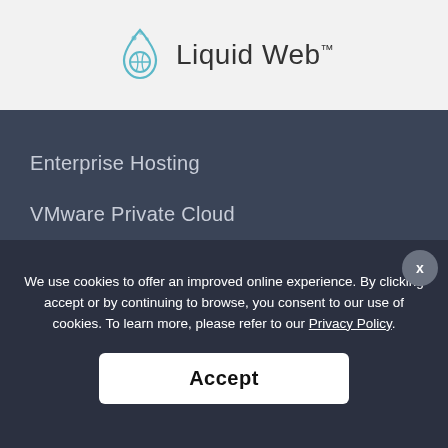[Figure (logo): Liquid Web logo with water drop / globe icon and text 'Liquid Web™']
Enterprise Hosting
VMware Private Cloud
High Availability Solutions
High Performance Solutions
We use cookies to offer an improved online experience. By clicking accept or by continuing to browse, you consent to our use of cookies. To learn more, please refer to our Privacy Policy.
Accept
0
SHARES